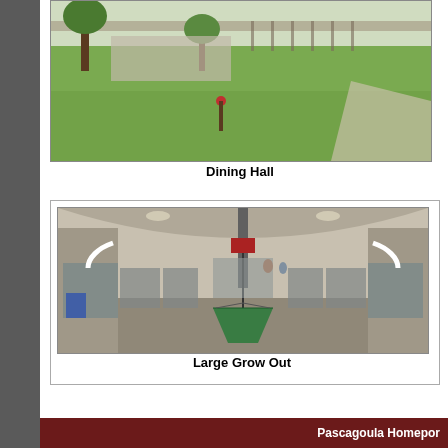[Figure (photo): Outdoor photo showing Dining Hall building with trees and grassy lawn, driveway visible on right side]
Dining Hall
[Figure (photo): Interior photo of Large Grow Out facility showing long building interior with tanks/equipment on both sides, central aisle, overhead crane/hoist with green net basket, workers visible in background]
Large Grow Out
Pascagoula Homeport